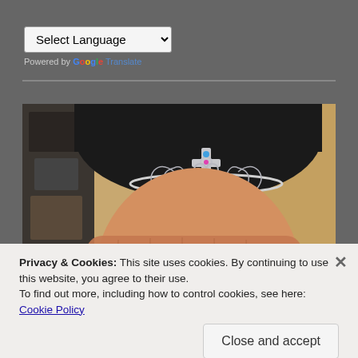Select Language
Powered by Google Translate
[Figure (photo): Close-up photograph of a person wearing a decorative tiara/crown, with dark hair and skin-toned face visible, hand raised to forehead. Left side shows a dark bulletin board; background has warm wood-toned wall.]
Privacy & Cookies: This site uses cookies. By continuing to use this website, you agree to their use.
To find out more, including how to control cookies, see here:
Cookie Policy
Close and accept